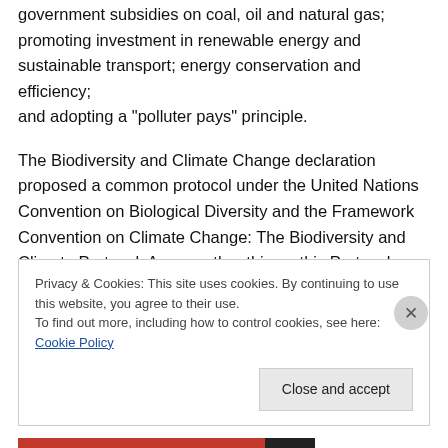government subsidies on coal, oil and natural gas; promoting investment in renewable energy and sustainable transport; energy conservation and efficiency; and adopting a "polluter pays" principle.
The Biodiversity and Climate Change declaration proposed a common protocol under the United Nations Convention on Biological Diversity and the Framework Convention on Climate Change: The Biodiversity and Climate Protocol. Among other things, this Protocol would exclude carbon offsets from emission trading systems in favor of the establishment of a very large global
Privacy & Cookies: This site uses cookies. By continuing to use this website, you agree to their use.
To find out more, including how to control cookies, see here: Cookie Policy